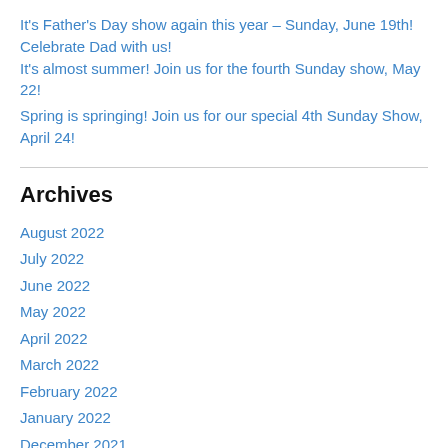It's Father's Day show again this year – Sunday, June 19th! Celebrate Dad with us!
It's almost summer! Join us for the fourth Sunday show, May 22!
Spring is springing! Join us for our special 4th Sunday Show, April 24!
Archives
August 2022
July 2022
June 2022
May 2022
April 2022
March 2022
February 2022
January 2022
December 2021
November 2021
October 2021
September 2021